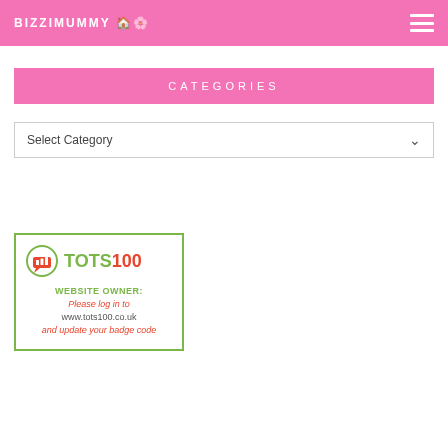BIZZIMUMMY
CATEGORIES
Select Category
[Figure (logo): TOTS100 badge widget with green border, showing TOTS100 logo and text: WEBSITE OWNER: Please log in to www.tots100.co.uk and update your badge code]